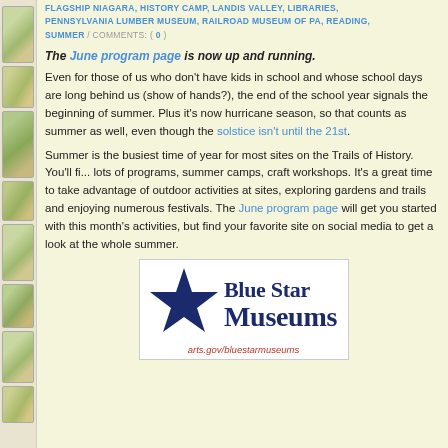FLAGSHIP NIAGARA, HISTORY CAMP, LANDIS VALLEY, LIBRARIES, PENNSYLVANIA LUMBER MUSEUM, RAILROAD MUSEUM OF PA, READING, SUMMER / COMMENTS: ( 0 )
The June program page is now up and running.
Even for those of us who don't have kids in school and whose school days are long behind us (show of hands?), the end of the school year signals the beginning of summer. Plus it's now hurricane season, so that counts as summer as well, even though the solstice isn't until the 21st.
Summer is the busiest time of year for most sites on the Trails of History. You'll find lots of programs, summer camps, craft workshops. It's a great time to take advantage of outdoor activities at sites, exploring gardens and trails and enjoying numerous festivals. The June program page will get you started with this month's activities, but find your favorite site on social media to get a look at the whole summer.
[Figure (logo): Blue Star Museums logo with large dark blue five-pointed star on left and text 'Blue Star Museums' on right, with URL arts.gov/bluestarmuseums below]